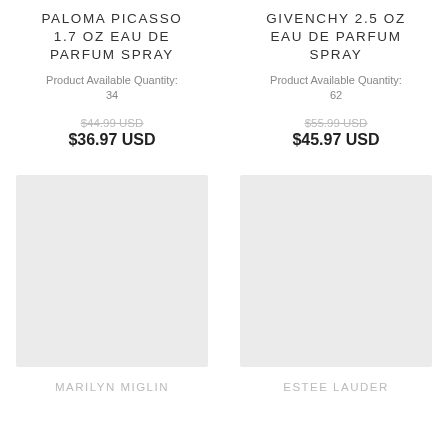PALOMA PICASSO 1.7 OZ EAU DE PARFUM SPRAY
Product Available Quantity: 34
$44.99 USD
$36.97 USD
GIVENCHY 2.5 OZ EAU DE PARFUM SPRAY
Product Available Quantity: 62
$55.99 USD
$45.97 USD
[Figure (photo): Product image placeholder for Marilyn Miglin item]
[Figure (photo): Product image placeholder for Estee Lauder item]
MARILYN MIGLIN
ESTEE LAUDER